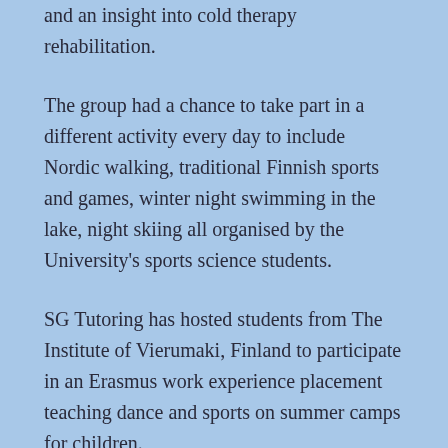and an insight into cold therapy rehabilitation.
The group had a chance to take part in a different activity every day to include Nordic walking, traditional Finnish sports and games, winter night swimming in the lake, night skiing all organised by the University's sports science students.
SG Tutoring has hosted students from The Institute of Vierumaki, Finland to participate in an Erasmus work experience placement teaching dance and sports on summer camps for children.
Student Internships in Malta